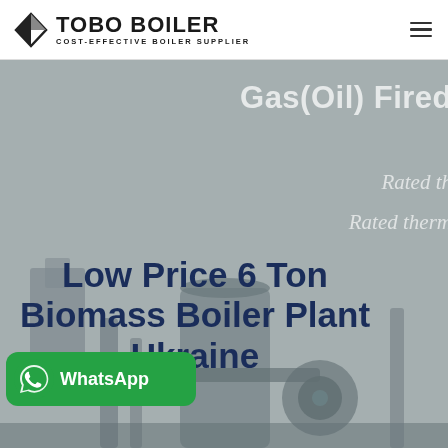TOBO BOILER — COST-EFFECTIVE BOILER SUPPLIER
[Figure (screenshot): Website screenshot showing TOBO BOILER logo with icon, navigation hamburger menu, hero background with industrial boiler machinery, partially visible text 'Gas(Oil) Fired', 'Rated th', 'Rated therm', main headline 'Low Price 6 Ton Biomass Boiler Plant Ukraine', and a green WhatsApp button]
Low Price 6 Ton Biomass Boiler Plant Ukraine